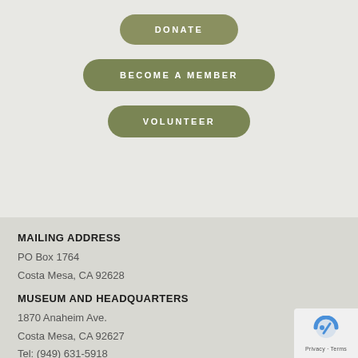DONATE
BECOME A MEMBER
VOLUNTEER
MAILING ADDRESS
PO Box 1764
Costa Mesa, CA 92628
MUSEUM AND HEADQUARTERS
1870 Anaheim Ave.
Costa Mesa, CA 92627
Tel: (949) 631-5918